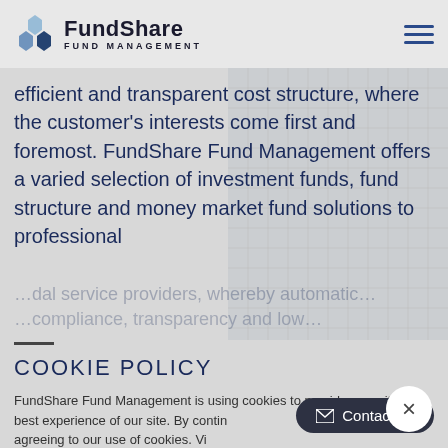FundShare FUND MANAGEMENT
efficient and transparent cost structure, where the customer's interests come first and foremost. FundShare Fund Management offers a varied selection of investment funds, fund structure and money market fund solutions to professional
COOKIE POLICY
FundShare Fund Management is using cookies to provide you with the best experience of our site. By contin... you are agreeing to our use of cookies. Vi...